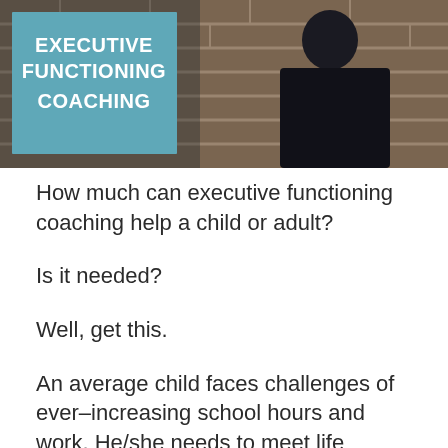[Figure (photo): Banner image showing a person in dark clothing against a brick wall background, with a teal/blue overlay box on the left displaying the text 'EXECUTIVE FUNCTIONING COACHING' in white bold uppercase letters.]
How much can executive functioning coaching help a child or adult?
Is it needed?
Well, get this.
An average child faces challenges of ever–increasing school hours and work. He/she needs to meet life demands and develop social skills. The child needs to learn to meet